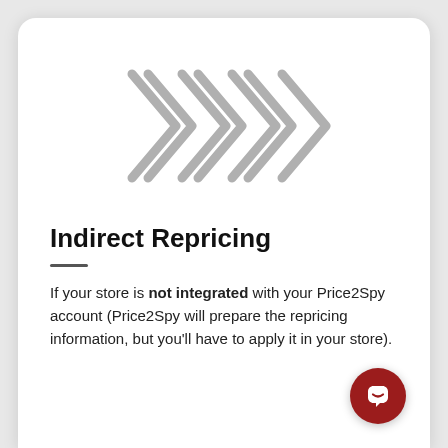[Figure (illustration): Four chevron/arrow shapes pointing right, rendered in light grey outline style, arranged horizontally in the upper portion of the card.]
Indirect Repricing
If your store is not integrated with your Price2Spy account (Price2Spy will prepare the repricing information, but you'll have to apply it in your store).